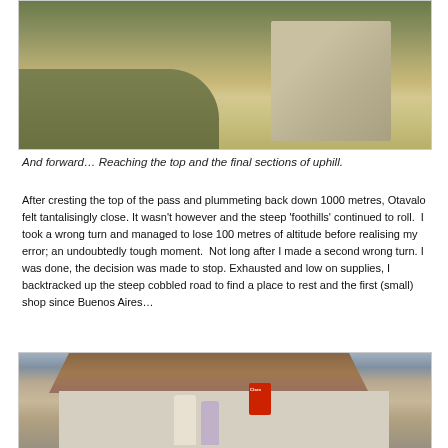[Figure (photo): Dirt mountain road going uphill with rocky terrain and dry grass on either side]
And forward… Reaching the top and the final sections of uphill.
After cresting the top of the pass and plummeting back down 1000 metres, Otavalo felt tantalisingly close. It wasn't however and the steep 'foothills' continued to roll.  I took a wrong turn and managed to lose 100 metres of altitude before realising my error; an undoubtedly tough moment.  Not long after I made a second wrong turn. I was done, the decision was made to stop. Exhausted and low on supplies, I backtracked up the steep cobbled road to find a place to rest and the first (small) shop since Buenos Aires…
[Figure (photo): Two people standing in front of a small rural shop with tiled roof, a Claro telephone booth visible on the wall]